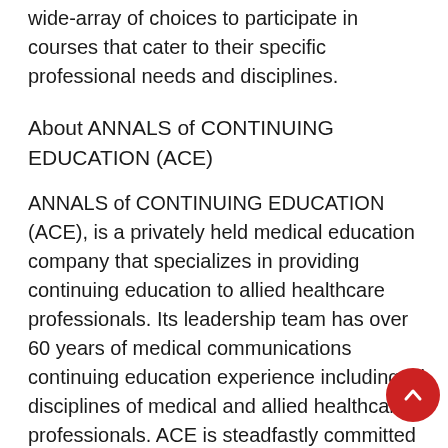wide-array of choices to participate in courses that cater to their specific professional needs and disciplines.
About ANNALS of CONTINUING EDUCATION (ACE)
ANNALS of CONTINUING EDUCATION (ACE), is a privately held medical education company that specializes in providing continuing education to allied healthcare professionals. Its leadership team has over 60 years of medical communications continuing education experience including all disciplines of medical and allied healthcare professionals. ACE is steadfastly committed to its mission which is to support Medical Assistants with content that enhances their professional development, further supports their critical role in